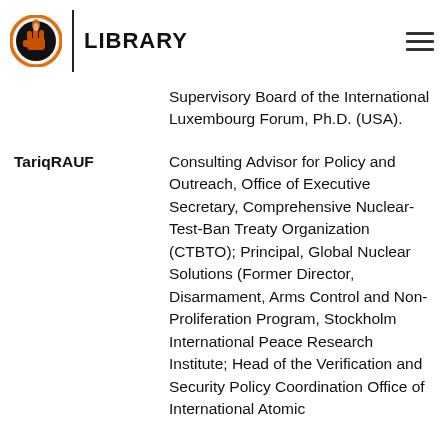LIBRARY
Supervisory Board of the International Luxembourg Forum, Ph.D. (USA).
TariqRAUF
Consulting Advisor for Policy and Outreach, Office of Executive Secretary, Comprehensive Nuclear-Test-Ban Treaty Organization (CTBTO); Principal, Global Nuclear Solutions (Former Director, Disarmament, Arms Control and Non-Proliferation Program, Stockholm International Peace Research Institute; Head of the Verification and Security Policy Coordination Office of International Atomic